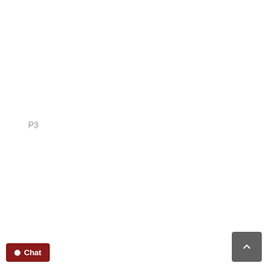P3
of the options, methods and practices for deductions, benefits and depreciati
Chat
▲